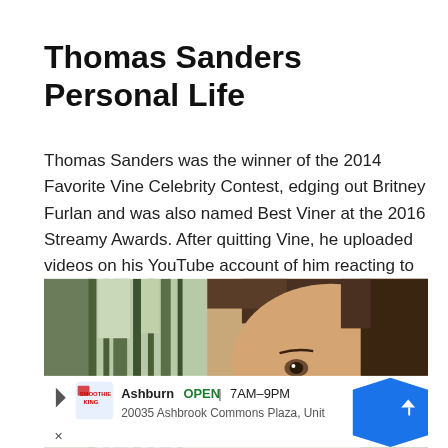Thomas Sanders Personal Life
Thomas Sanders was the winner of the 2014 Favorite Vine Celebrity Contest, edging out Britney Furlan and was also named Best Viner at the 2016 Streamy Awards. After quitting Vine, he uploaded videos on his YouTube account of him reacting to his old videos using that software.
[Figure (photo): Outdoor photo of a young person with brown hair looking at camera, with tall trees and green foliage in background. An advertisement overlay appears at the bottom showing Smoothie King store info: Ashburn OPEN 7AM-9PM, 20035 Ashbrook Commons Plaza, Unit]
Ashburn OPEN 7AM–9PM 20035 Ashbrook Commons Plaza, Unit